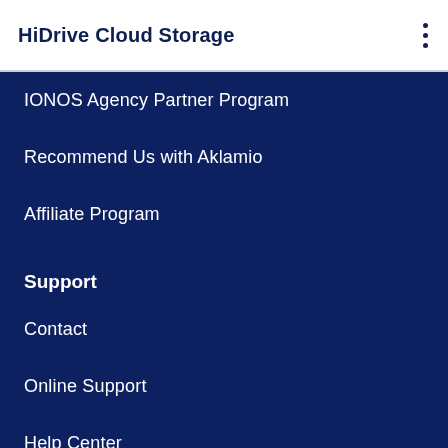HiDrive Cloud Storage
IONOS Agency Partner Program
Recommend Us with Aklamio
Affiliate Program
Support
Contact
Online Support
Help Center
We use cookies on our website to provide you with the best possible user experience. By continuing to use our website or services, you agree to their use. More Information.